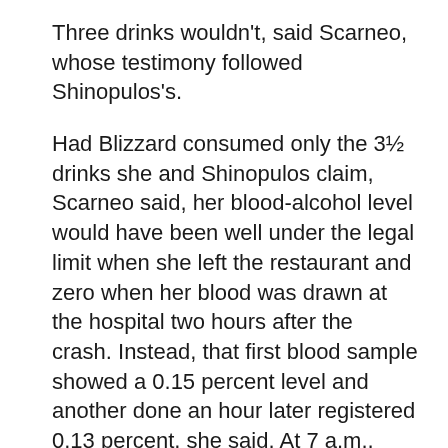Three drinks wouldn't, said Scarneo, whose testimony followed Shinopulos's.
Had Blizzard consumed only the 3½ drinks she and Shinopulos claim, Scarneo said, her blood-alcohol level would have been well under the legal limit when she left the restaurant and zero when her blood was drawn at the hospital two hours after the crash. Instead, that first blood sample showed a 0.15 percent level and another done an hour later registered 0.13 percent, she said. At 7 a.m., Blizzard's blood-alcohol level was 0.11 percent, and it didn't drop to below the legal limit until about 9:30 a.m., Scarneo said.